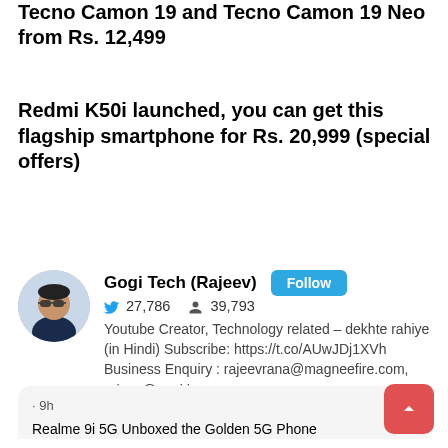Tecno Camon 19 and Tecno Camon 19 Neo from Rs. 12,499
Redmi K50i launched, you can get this flagship smartphone for Rs. 20,999 (special offers)
[Figure (photo): Circular avatar photo of Gogi Tech (Rajeev), a man wearing sunglasses with a dark jacket]
Gogi Tech (Rajeev)
27,786   39,793
Youtube Creator, Technology related – dekhte rahiye (in Hindi) Subscribe: https://t.co/AUwJDj1XVh Business Enquiry : rajeevrana@magneefire.com, rajeev@gogi.in
· 9h
Realme 9i 5G Unboxed the Golden 5G Phone